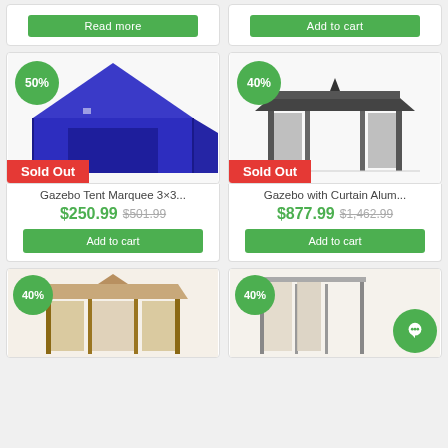[Figure (screenshot): Top partial product cards showing green Read more and Add to cart buttons]
[Figure (photo): Blue pop-up gazebo tent marquee 3x3 with 50% off badge and Sold Out banner]
Gazebo Tent Marquee 3×3...
$250.99  $501.99
Add to cart
[Figure (photo): Dark grey hardtop gazebo with curtains, 40% off badge and Sold Out banner]
Gazebo with Curtain Alum...
$877.99  $1,462.99
Add to cart
[Figure (photo): Tan/beige square gazebo with fabric canopy, 40% off badge, partial view]
[Figure (photo): Beige curtained gazebo, 40% off badge, partial view, with chat bubble icon]